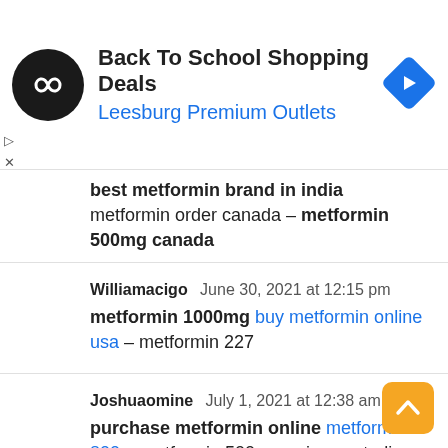[Figure (other): Advertisement banner: Back To School Shopping Deals at Leesburg Premium Outlets with logo and navigation arrow icon]
best metformin brand in india metformin order canada – metformin 500mg canada
Williamacigo  June 30, 2021 at 12:15 pm
metformin 1000mg buy metformin online usa – metformin 227
Joshuaomine  July 1, 2021 at 12:38 am
purchase metformin online metformin 800 – metformin 500 mg price australia